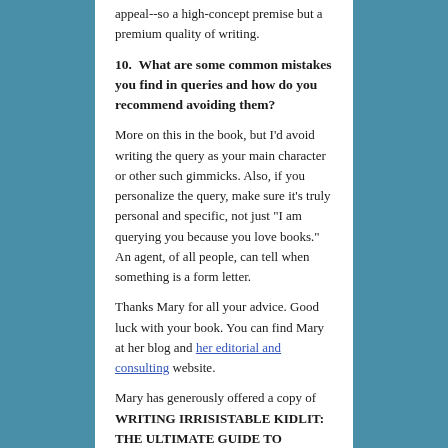appeal--so a high-concept premise but a premium quality of writing.
10.  What are some common mistakes you find in queries and how do you recommend avoiding them?
More on this in the book, but I'd avoid writing the query as your main character or other such gimmicks. Also, if you personalize the query, make sure it's truly personal and specific, not just "I am querying you because you love books." An agent, of all people, can tell when something is a form letter.
Thanks Mary for all your advice. Good luck with your book. You can find Mary at her blog and her editorial and consulting website.
Mary has generously offered a copy of WRITING IRRISISTABLE KIDLIT: THE ULTIMATE GUIDE TO CRAFTING FICTION FOR YOUNG ADULT AND MIDDLE GRADE READERS for a giveaway. To enter, all you need to do is be a follower (just click the follow button if you're not a